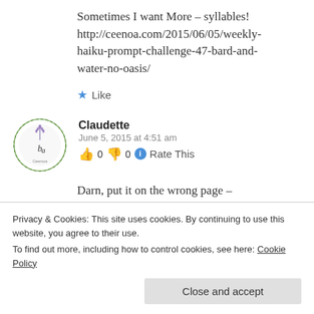Sometimes I want More – syllables! http://ceenoa.com/2015/06/05/weekly-haiku-prompt-challenge-47-bard-and-water-no-oasis/
★ Like
Claudette
June 5, 2015 at 4:51 am
👍 0 👎 0 ℹ Rate This
Darn, put it on the wrong page –
Privacy & Cookies: This site uses cookies. By continuing to use this website, you agree to their use.
To find out more, including how to control cookies, see here: Cookie Policy
Close and accept